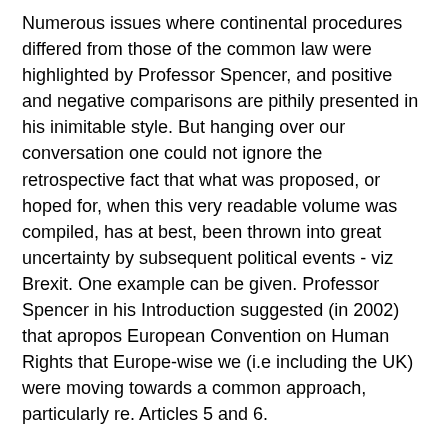Numerous issues where continental procedures differed from those of the common law were highlighted by Professor Spencer, and positive and negative comparisons are pithily presented in his inimitable style. But hanging over our conversation one could not ignore the retrospective fact that what was proposed, or hoped for, when this very readable volume was compiled, has at best, been thrown into great uncertainty by subsequent political events - viz Brexit. One example can be given. Professor Spencer in his Introduction suggested (in 2002) that apropos European Convention on Human Rights that Europe-wise we (i.e including the UK) were moving towards a common approach, particularly re. Articles 5 and 6.
Professor Spencer's response - 20 years later - now that Brexit has occurred, was that it is still " difficult to say. We know that the most fervent Brexiteers have an agenda for a Brexit 2 following the liberation of our legal system from the Luxembourg court system, which is the liberation of our legal system from Strasbourg, which